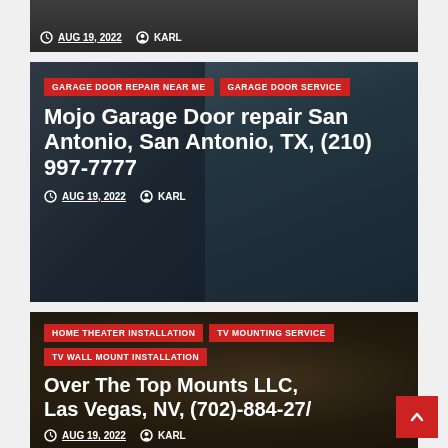[Figure (photo): Partial view of a dark-toned card showing meta info: clock icon, AUG 19, 2022, user icon, KARL — bottom strip of an article card]
AUG 19, 2022  KARL
[Figure (photo): Garage door repair technician in blue shirt working on a garage door mechanism overhead]
GARAGE DOOR REPAIR NEAR ME  GARAGE DOOR SERVICE
Mojo Garage Door repair San Antonio, San Antonio, TX, (210) 997-7777
AUG 19, 2022  KARL
[Figure (photo): Living room with a TV mounted on the wall, warm lighting with gold lamps and dark furniture]
HOME THEATER INSTALLATION  TV MOUNTING SERVICE  TV WALL MOUNT INSTALLATION
Over The Top Mounts LLC, Las Vegas, NV, (702)-884-27/
AUG 19, 2022  KARL